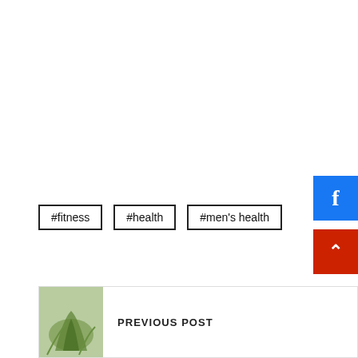[Figure (other): Facebook share button (blue square with white 'f' letter)]
#fitness
#health
#men's health
[Figure (other): Scroll-to-top button (red square with white upward caret)]
PREVIOUS POST